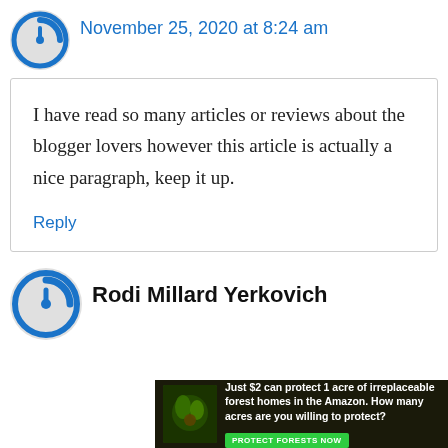November 25, 2020 at 8:24 am
I have read so many articles or reviews about the blogger lovers however this article is actually a nice paragraph, keep it up.
Reply
Rodi Millard Yerkovich
Just $2 can protect 1 acre of irreplaceable forest homes in the Amazon. How many acres are you willing to protect? PROTECT FORESTS NOW